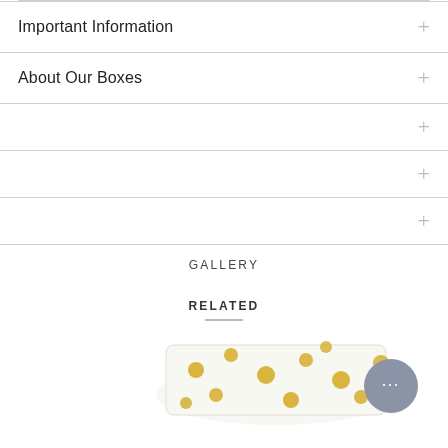Important Information
About Our Boxes
GALLERY
RELATED
[Figure (photo): Product photo showing white gift boxes with gold polka dots, partially visible at bottom of page. A chat bubble widget with three dots is visible in the lower right corner.]